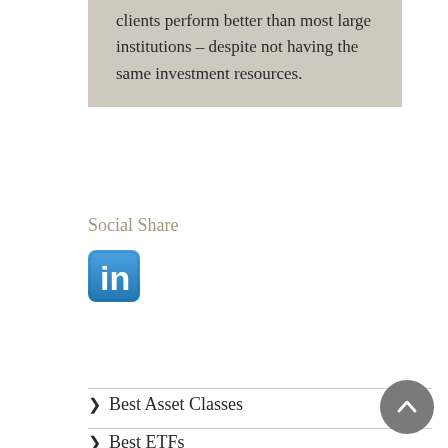clients perform better than most large institutions – despite not having the same investment resources.
Social Share
[Figure (logo): LinkedIn social share icon button – blue rounded square with white 'in' logo]
Best Asset Classes
Best ETFs